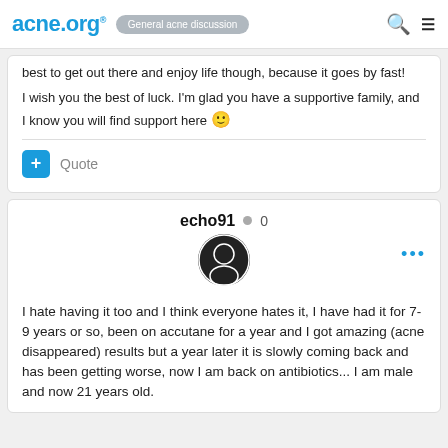acne.org® General acne discussion
best to get out there and enjoy life though, because it goes by fast!

I wish you the best of luck. I'm glad you have a supportive family, and I know you will find support here 🙂
Quote
echo91  0
I hate having it too and I think everyone hates it, I have had it for 7-9 years or so, been on accutane for a year and I got amazing (acne disappeared) results but a year later it is slowly coming back and has been getting worse, now I am back on antibiotics... I am male and now 21 years old.